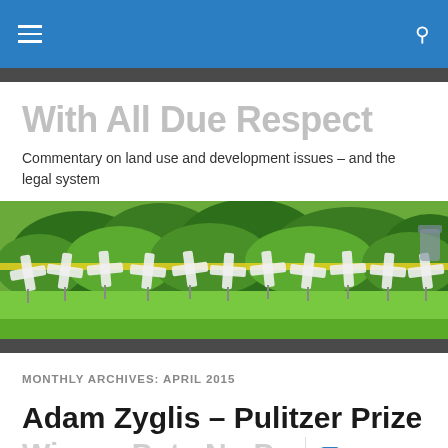With All Due Respect — site navigation bar
With All Due Respect
Commentary on land use and development issues – and the legal system
[Figure (photo): Outdoor photo showing a row of white memorial markers or signs on a grassy lawn, with green bushes and trees in the background and yellow caution tape visible.]
MONTHLY ARCHIVES: APRIL 2015
Adam Zyglis – Pulitzer Prize
Winner Puts No Puns...